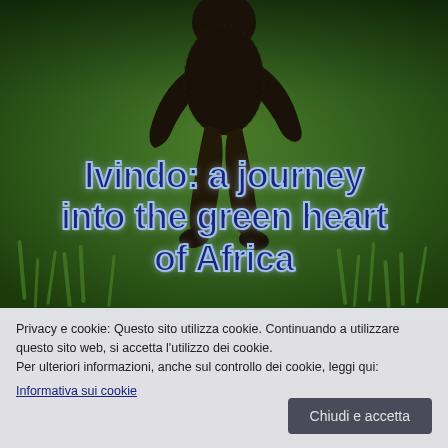[Figure (photo): A dark monkey (likely a mangabey or similar primate) photographed from behind/below against a green grassy background. The animal's dark fur and limbs are visible against vibrant green grass and foliage.]
Ivindo: a journey into the green heart of Africa
Privacy e cookie: Questo sito utilizza cookie. Continuando a utilizzare questo sito web, si accetta l'utilizzo dei cookie.
Per ulteriori informazioni, anche sul controllo dei cookie, leggi qui:
Informativa sui cookie
Chiudi e accetta